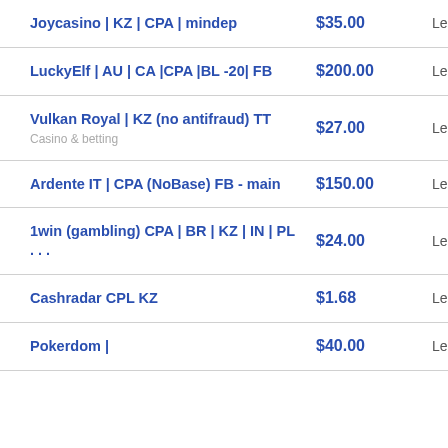| Offer | Price | Network |
| --- | --- | --- |
| Joycasino | KZ | CPA | mindep | $35.00 | Leadbit |
| LuckyElf | AU | CA |CPA |BL -20| FB | $200.00 | Leadbit |
| Vulkan Royal | KZ (no antifraud) TT
Casino & betting | $27.00 | Leadbit |
| Ardente IT | CPA (NoBase) FB - main | $150.00 | Leadbit |
| 1win (gambling) CPA | BR | KZ | IN | PL ... | $24.00 | Leadbit |
| Cashradar CPL KZ | $1.68 | Leadbit |
| Pokerdom | | $40.00 | Leadbit |